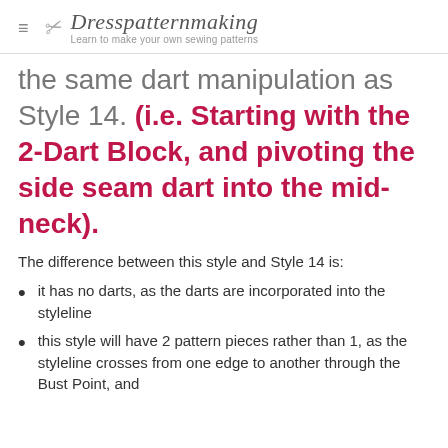Dresspatternmaking — Learn to make your own sewing patterns
the same dart manipulation as Style 14. (i.e. Starting with the 2-Dart Block, and pivoting the side seam dart into the mid-neck).
The difference between this style and Style 14 is:
it has no darts, as the darts are incorporated into the styleline
this style will have 2 pattern pieces rather than 1, as the styleline crosses from one edge to another through the Bust Point, and